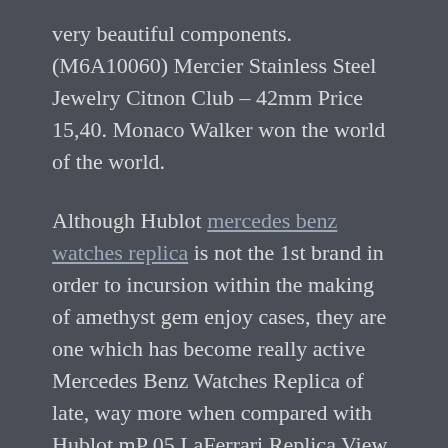very beautiful components. (M6A10060) Mercier Stainless Steel Jewelry Citnon Club – 42mm Price 15,40. Monaco Walker won the world of the world.
Although Hublot mercedes benz watches replica is not the 1st brand in order to incursion within the making of amethyst gem enjoy cases, they are one which has become really active Mercedes Benz Watches Replica of late, way more when compared with Hublot mP 05 LaFerrari Replica View. Furthermore place, the truth comes with a dark colored Ferrari Cavallino Rampante'It'figure as well as multi layer development tend to be through with a perfect totally finished see thorugh search.